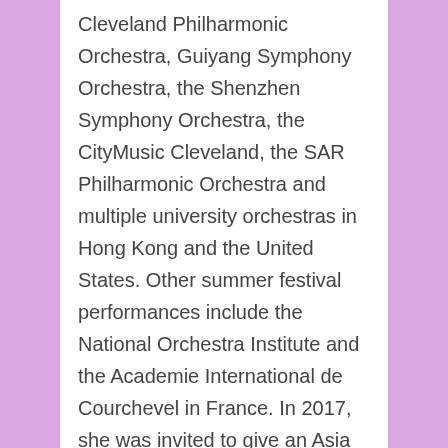Cleveland Philharmonic Orchestra, Guiyang Symphony Orchestra, the Shenzhen Symphony Orchestra, the CityMusic Cleveland, the SAR Philharmonic Orchestra and multiple university orchestras in Hong Kong and the United States. Other summer festival performances include the National Orchestra Institute and the Academie International de Courchevel in France. In 2017, she was invited to give an Asia premiere on the famous composer Paul Patterson's Mosquitoes with her ensemble the Victoria Quartet at the 13th World Harp Congress.